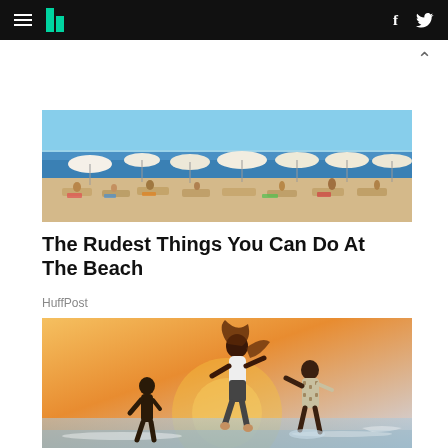HuffPost navigation bar with hamburger menu, HuffPost logo, Facebook and Twitter icons
[Figure (photo): Crowded beach scene with people sunbathing on lounge chairs under white umbrellas, blue sea in the background, sunny day]
The Rudest Things You Can Do At The Beach
HuffPost
[Figure (photo): Three people dancing and jumping on a beach at sunset/golden hour, silhouetted against warm light, waves in background]